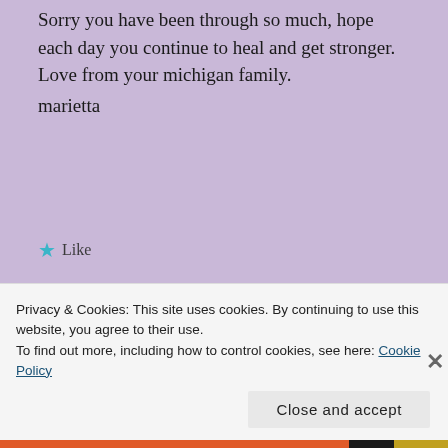Sorry you have been through so much, hope each day you continue to heal and get stronger. Love from your michigan family.
marietta
Like
Reply
Pilgrim125
Privacy & Cookies: This site uses cookies. By continuing to use this website, you agree to their use.
To find out more, including how to control cookies, see here: Cookie Policy
Close and accept